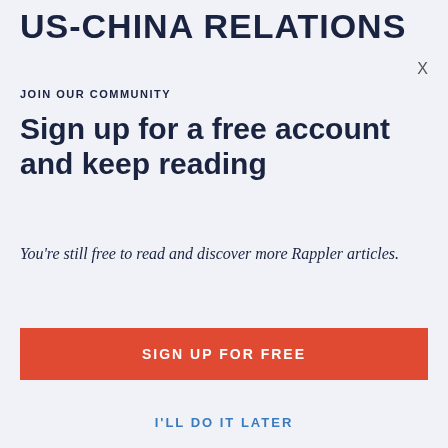US-CHINA RELATIONS
X
JOIN OUR COMMUNITY
Sign up for a free account and keep reading
You're still free to read and discover more Rappler articles.
Why is it important for you to register?
Know here.
SIGN UP FOR FREE
I'LL DO IT LATER